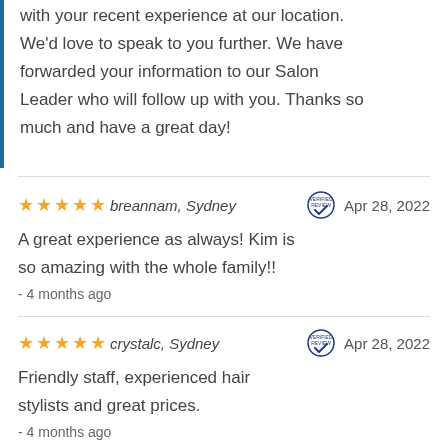with your recent experience at our location. We'd love to speak to you further. We have forwarded your information to our Salon Leader who will follow up with you. Thanks so much and have a great day!
★★★★★ breannam, Sydney   Apr 28, 2022
A great experience as always! Kim is so amazing with the whole family!!
- 4 months ago
★★★★★ crystalc, Sydney   Apr 28, 2022
Friendly staff, experienced hair stylists and great prices.
- 4 months ago